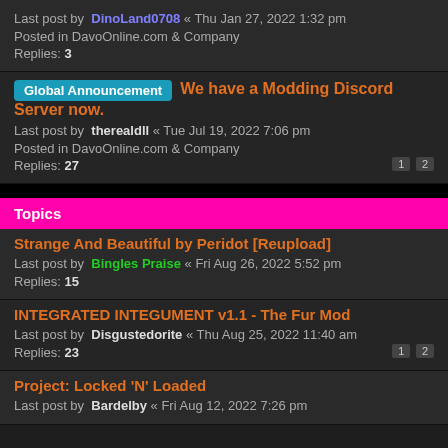Last post by DinoLand0708 « Thu Jan 27, 2022 1:32 pm
Posted in DavoOnline.com & Company
Replies: 3
Global Announcement: We have a Modding Discord Server now.
Last post by therealdll « Tue Jul 19, 2022 7:06 pm
Posted in DavoOnline.com & Company
Replies: 27
Topics
Strange And Beautiful by Peridot [Reupload]
Last post by Bingles Praise « Fri Aug 26, 2022 5:52 pm
Replies: 15
INTEGRATED INTEGUMENT v1.1 - The Fur Mod
Last post by Disgustedorite « Thu Aug 25, 2022 11:40 am
Replies: 23
Project: Locked 'N' Loaded
Last post by Bardelby « Fri Aug 12, 2022 7:26 pm